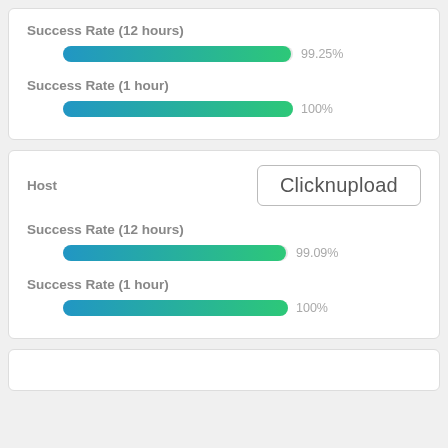Success Rate (12 hours)
[Figure (bar-chart): Success Rate (12 hours)]
Success Rate (1 hour)
[Figure (bar-chart): Success Rate (1 hour)]
Host
Clicknupload
Success Rate (12 hours)
[Figure (bar-chart): Success Rate (12 hours)]
Success Rate (1 hour)
[Figure (bar-chart): Success Rate (1 hour)]